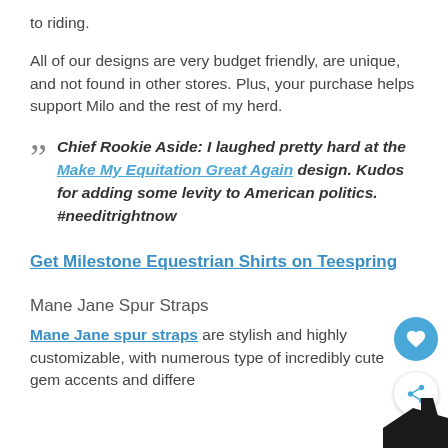to riding.
All of our designs are very budget friendly, are unique, and not found in other stores. Plus, your purchase helps support Milo and the rest of my herd.
Chief Rookie Aside: I laughed pretty hard at the Make My Equitation Great Again design. Kudos for adding some levity to American politics. #needitrightnow
Get Milestone Equestrian Shirts on Teespring
Mane Jane Spur Straps
Mane Jane spur straps are stylish and highly customizable, with numerous type of incredibly cute gem accents and differe